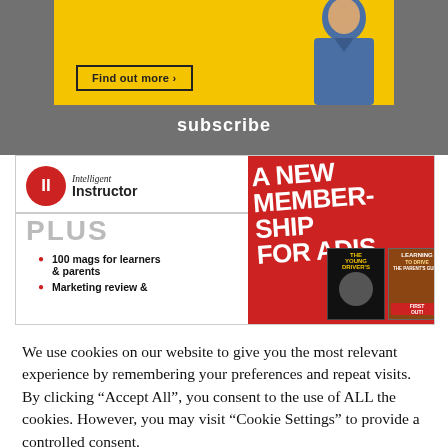[Figure (illustration): Yellow advertisement banner with 'Find out more >' button and person in denim jacket on right side]
subscribe
[Figure (illustration): Intelligent Instructor PLUS magazine subscription ad: A NEW MEMBERSHIP FOR ADIS, bullet points: 100 mags for learners & parents, Marketing review &, with Young Driver's and Learning to Drive magazine covers]
We use cookies on our website to give you the most relevant experience by remembering your preferences and repeat visits. By clicking "Accept All", you consent to the use of ALL the cookies. However, you may visit "Cookie Settings" to provide a controlled consent.
Cookie Settings
Accept All